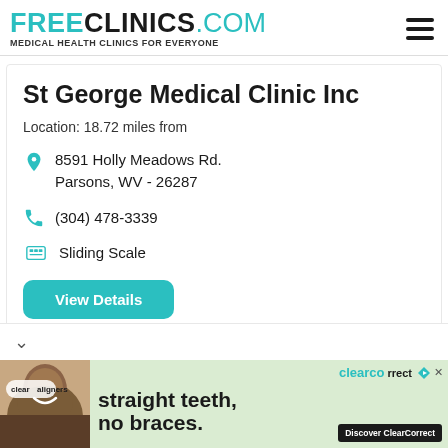FREECLINICS.COM - Medical Health Clinics For Everyone
St George Medical Clinic Inc
Location: 18.72 miles from
8591 Holly Meadows Rd.
Parsons, WV - 26287
(304) 478-3339
Sliding Scale
View Details
[Figure (photo): Advertisement banner for ClearCorrect clear aligners showing a smiling person with text 'straight teeth, no braces.' and Discover ClearCorrect button]